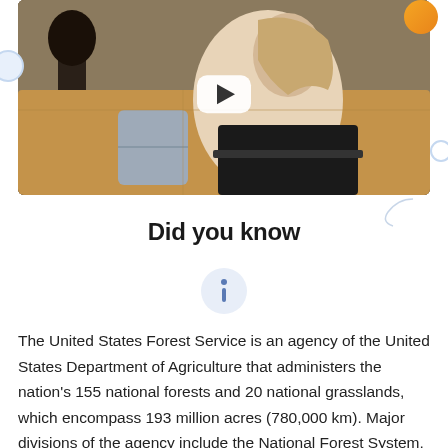[Figure (photo): A woman with glasses sitting on a couch working on a laptop, with a YouTube play button overlay indicating a video thumbnail. Indoor setting with lamp and decorative pillows in background.]
Did you know
[Figure (infographic): Info icon (letter i) in a light blue circular background]
The United States Forest Service is an agency of the United States Department of Agriculture that administers the nation's 155 national forests and 20 national grasslands, which encompass 193 million acres (780,000 km). Major divisions of the agency include the National Forest System,